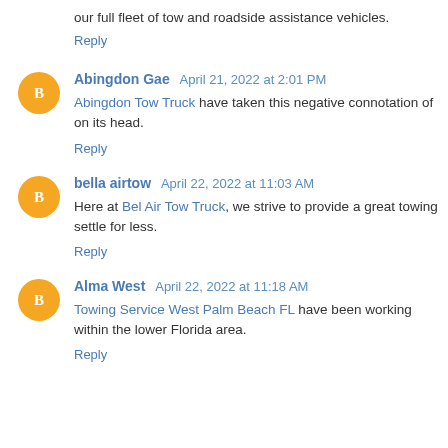our full fleet of tow and roadside assistance vehicles.
Reply
Abingdon Gae April 21, 2022 at 2:01 PM
Abingdon Tow Truck have taken this negative connotation of on its head.
Reply
bella airtow April 22, 2022 at 11:03 AM
Here at Bel Air Tow Truck, we strive to provide a great towing settle for less.
Reply
Alma West April 22, 2022 at 11:18 AM
Towing Service West Palm Beach FL have been working within the lower Florida area.
Reply